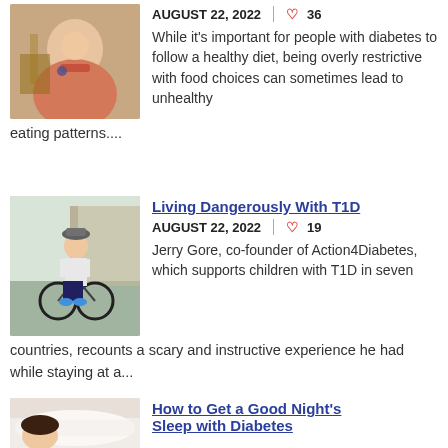[Figure (photo): Woman eating/drinking, taking photo of food]
AUGUST 22, 2022  | ♡ 36
While it's important for people with diabetes to follow a healthy diet, being overly restrictive with food choices can sometimes lead to unhealthy eating patterns....
[Figure (photo): Child with bicycle standing outdoors]
Living Dangerously With T1D
AUGUST 22, 2022  | ♡ 19
Jerry Gore, co-founder of Action4Diabetes, which supports children with T1D in seven countries, recounts a scary and instructive experience he had while staying at a...
[Figure (photo): Person sleeping in bed with white pillow]
How to Get a Good Night's Sleep with Diabetes